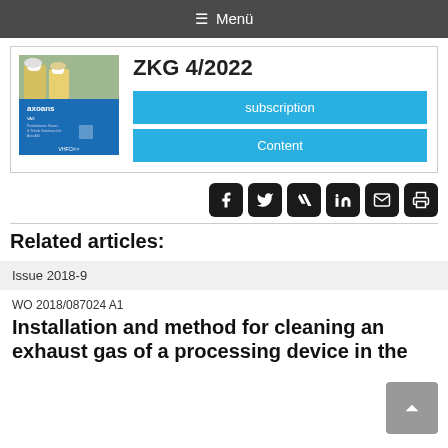≡ Menü
[Figure (screenshot): Magazine cover for ZKG 4/2022 showing workers in yellow vests and hard hats with blue background and Axoans branding]
ZKG 4/2022
subscription
Content
[Figure (other): Social media share icons row: Facebook, Twitter, Xing, LinkedIn, Email, Print]
Related articles:
Issue 2018-9
WO 2018/087024 A1
Installation and method for cleaning an exhaust gas of a processing device in the